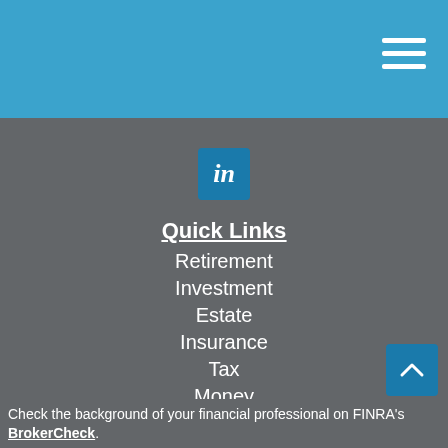[Figure (logo): LinkedIn icon - blue square with white 'in' text]
Quick Links
Retirement
Investment
Estate
Insurance
Tax
Money
Lifestyle
All Articles
All Videos
All Calculators
All Presentations
Check the background of your financial professional on FINRA's BrokerCheck.